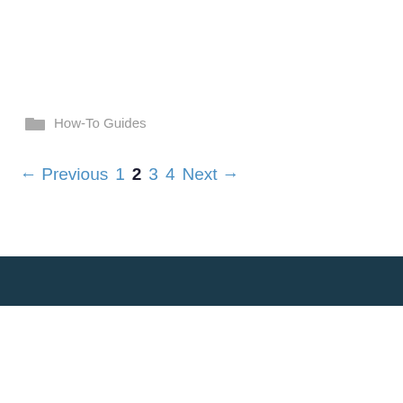📁 How-To Guides
← Previous  1  2  3  4  Next →